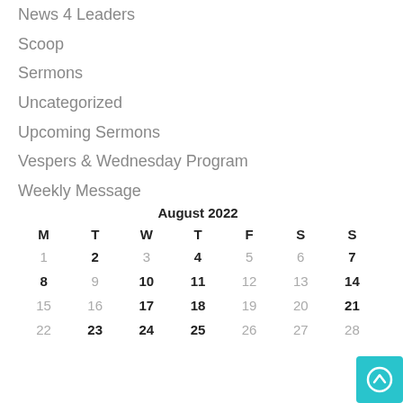News 4 Leaders
Scoop
Sermons
Uncategorized
Upcoming Sermons
Vespers & Wednesday Program
Weekly Message
| M | T | W | T | F | S | S |
| --- | --- | --- | --- | --- | --- | --- |
| 1 | 2 | 3 | 4 | 5 | 6 | 7 |
| 8 | 9 | 10 | 11 | 12 | 13 | 14 |
| 15 | 16 | 17 | 18 | 19 | 20 | 21 |
| 22 | 23 | 24 | 25 | 26 | 27 | 28 |